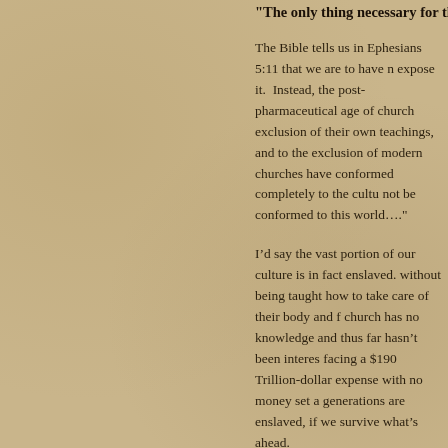“The only thing necessary for the triumph of evil i…
The Bible tells us in Ephesians 5:11 that we are to have n expose it. Instead, the post-pharmaceutical age of church exclusion of their own teachings, and to the exclusion of modern churches have conformed completely to the cultu not be conformed to this world….”
I’d say the vast portion of our culture is in fact enslaved. without being taught how to take care of their body and f church has no knowledge and thus far hasn’t been interes facing a $190 Trillion-dollar expense with no money set a generations are enslaved, if we survive what’s ahead.
It’s also a form of brainwashing as people are completely and healing in this model. They get a symptom, go forwa doctor. They go get a pill and go back to the same lifesty the issues in the first place. “Go and sin no more or some indicates the need to change something or identify the ro given to what they may be doing to accelerate dis-ease a just hand-holding and well-meaning looks of concern. H